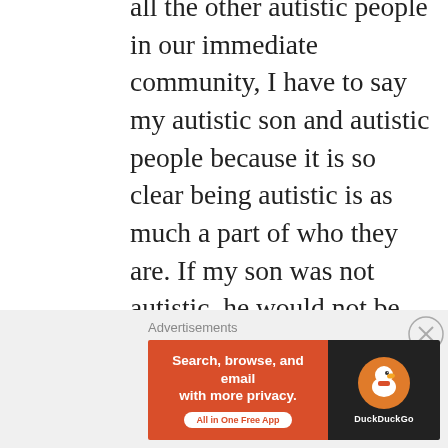all the other autistic people in our immediate community, I have to say my autistic son and autistic people because it is so clear being autistic is as much a part of who they are. If my son was not autistic, he would not be the amazing, wonderful, human being he is. His strengths and challenges would be completely different strengths and challenges. He wouldn't be doing the things with his life that he is, he'd be someone else altogether. Any I love who he is. I wouldn't want him to be someone
Advertisements
[Figure (other): DuckDuckGo advertisement banner. Orange/red left section reads 'Search, browse, and email with more privacy. All in One Free App'. Black right section shows DuckDuckGo duck logo and brand name.]